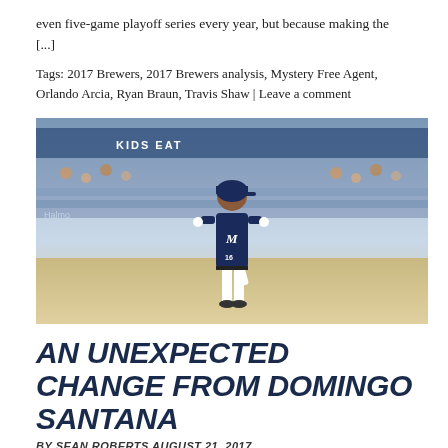even five-game playoff series every year, but because making the [...]
Tags: 2017 Brewers, 2017 Brewers analysis, Mystery Free Agent, Orlando Arcia, Ryan Braun, Travis Shaw | Leave a comment
[Figure (photo): Baseball player in Milwaukee Brewers uniform running on the field, stadium crowd in background]
AN UNEXPECTED CHANGE FROM DOMINGO SANTANA
BY SEAN ROBERTS AUGUST 21, 2017
Entering the age in which baseball players tend to approach their prime, 25-year old Domingo Santana has already established